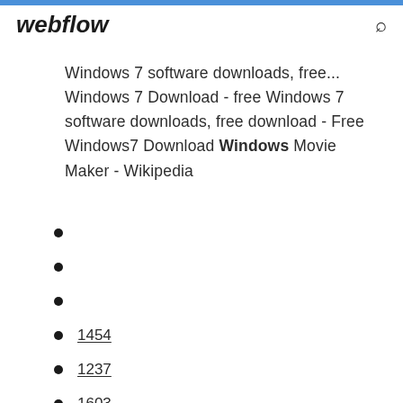webflow
Windows 7 software downloads, free... Windows 7 Download - free Windows 7 software downloads, free download - Free Windows7 Download Windows Movie Maker - Wikipedia
1454
1237
1603
1710
3